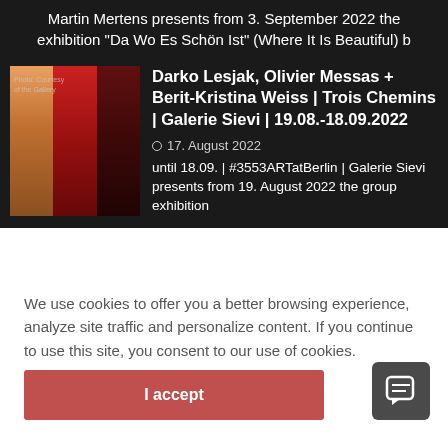Martin Mertens presents from 3. September 2022 the exhibition "Da Wo Es Schön Ist" (Where It Is Beautiful) b
[Figure (photo): Artwork thumbnail showing red and orange abstract artwork panels side by side]
Darko Lesjak, Olivier Messas + Berit-Kristina Weiss | Trois Chemins | Galerie Sievi | 19.08.-18.09.2022
17. August 2022
until 18.09. | #3553ARTatBerlin | Galerie Sievi presents from 19. August 2022 the group exhibition
We use cookies to offer you a better browsing experience, analyze site traffic and personalize content. If you continue to use this site, you consent to our use of cookies.
I accept